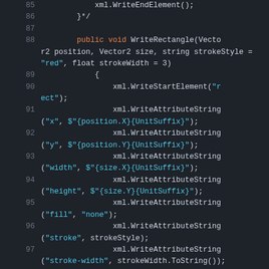[Figure (screenshot): Source code editor screenshot showing C# code lines 85-97 of a WriteRectangle method with syntax highlighting on a dark background. Keywords 'public' and 'void' are highlighted in orange, string literals in blue/cyan.]